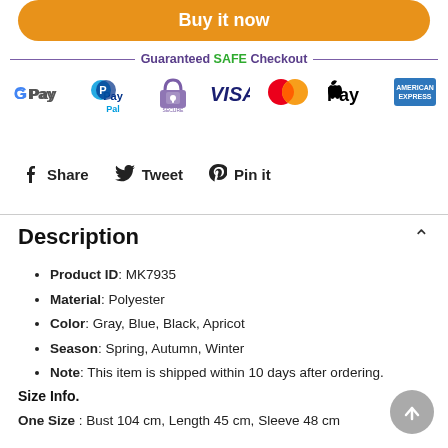[Figure (other): Buy it now orange button]
[Figure (other): Guaranteed SAFE Checkout banner with payment logos: Google Pay, PayPal, secure padlock, VISA, MasterCard, Apple Pay, American Express]
[Figure (other): Social share buttons: Facebook Share, Twitter Tweet, Pinterest Pin it]
Description
Product ID: MK7935
Material: Polyester
Color: Gray, Blue, Black, Apricot
Season: Spring, Autumn, Winter
Note: This item is shipped within 10 days after ordering.
Size Info.
One Size : Bust 104 cm, Length 45 cm, Sleeve 48 cm